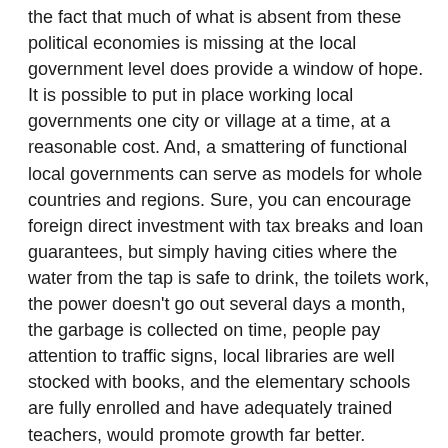the fact that much of what is absent from these political economies is missing at the local government level does provide a window of hope. It is possible to put in place working local governments one city or village at a time, at a reasonable cost. And, a smattering of functional local governments can serve as models for whole countries and regions. Sure, you can encourage foreign direct investment with tax breaks and loan guarantees, but simply having cities where the water from the tap is safe to drink, the toilets work, the power doesn't go out several days a month, the garbage is collected on time, people pay attention to traffic signs, local libraries are well stocked with books, and the elementary schools are fully enrolled and have adequately trained teachers, would promote growth far better. Singapore and Hong Kong owe as much of their development success to having functional local government administrations as they do to laissez faire economic policies.
When you live in a developed country it is easy to get fixated on the relatively lower priority "advanced" economic issues that dominate your own country's political scenes, while ignoring the basics that have become non-partisan,